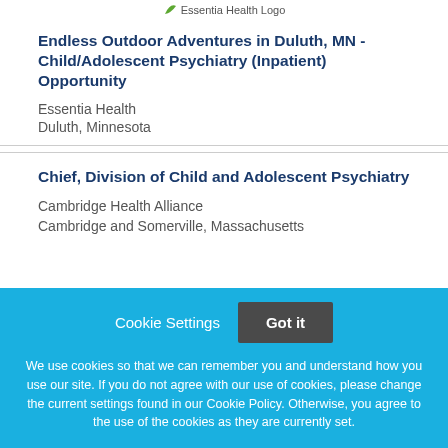[Figure (logo): Essentia Health Logo]
Endless Outdoor Adventures in Duluth, MN - Child/Adolescent Psychiatry (Inpatient) Opportunity
Essentia Health
Duluth, Minnesota
Chief, Division of Child and Adolescent Psychiatry
Cambridge Health Alliance
Cambridge and Somerville, Massachusetts
We use cookies so that we can remember you and understand how you use our site. If you do not agree with our use of cookies, please change the current settings found in our Cookie Policy. Otherwise, you agree to the use of the cookies as they are currently set.